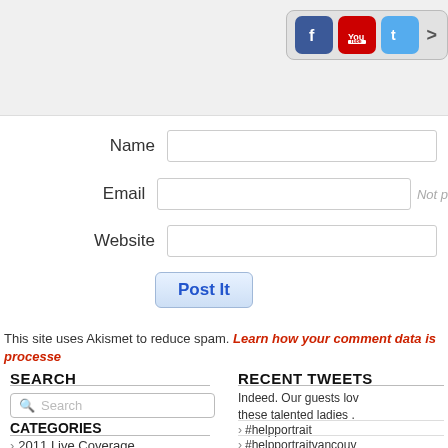[Figure (screenshot): Social media icons (Facebook, YouTube, Twitter) with a gray rounded pill container and a right arrow button]
Name
Email
Not p[ublished]
Website
Post It
This site uses Akismet to reduce spam. Learn how your comment data is processe[d].
SEARCH
RECENT TWEETS
Indeed. Our guests lov[e] these talented ladies .
#helpportrait
#helpportraitvancouv[er]
twitter.com/ugm/stat[s]
CATEGORIES
2011 Live Coverage